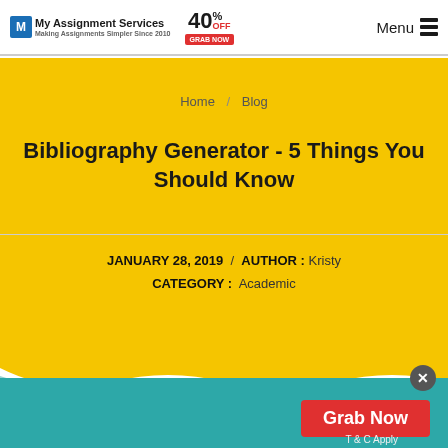My Assignment Services — Making Assignments Simpler Since 2010 | 40% OFF GRAB NOW | Menu
Home / Blog
Bibliography Generator - 5 Things You Should Know
JANUARY 28, 2019  /  AUTHOR : Kristy
CATEGORY :  Academic
Grab Now
T & C Apply